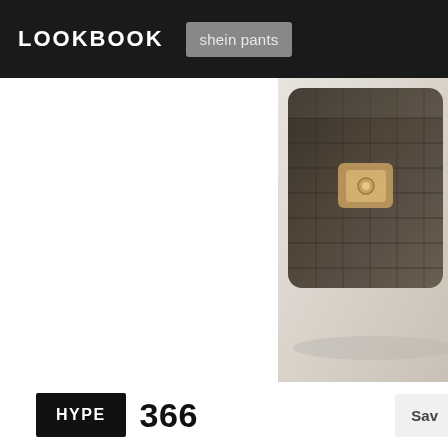LOOKBOOK  shein pants
[Figure (photo): Close-up photo of a dark brown/black crocodile-textured leather accessory (bag clasp or similar) with metallic hardware, partially cropped at top-right of page]
HYPE 366 Sav
1  Blazer  Shein in Shein Blazers
2  Vintage Versace  Versace in Versace Bags
3  Pants  Shein in Shein Pants